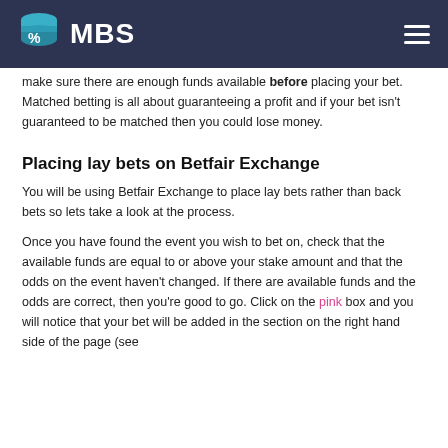MBS
make sure there are enough funds available before placing your bet. Matched betting is all about guaranteeing a profit and if your bet isn't guaranteed to be matched then you could lose money.
Placing lay bets on Betfair Exchange
You will be using Betfair Exchange to place lay bets rather than back bets so lets take a look at the process.
Once you have found the event you wish to bet on, check that the available funds are equal to or above your stake amount and that the odds on the event haven't changed. If there are available funds and the odds are correct, then you're good to go. Click on the pink box and you will notice that your bet will be added in the section on the right hand side of the page (see